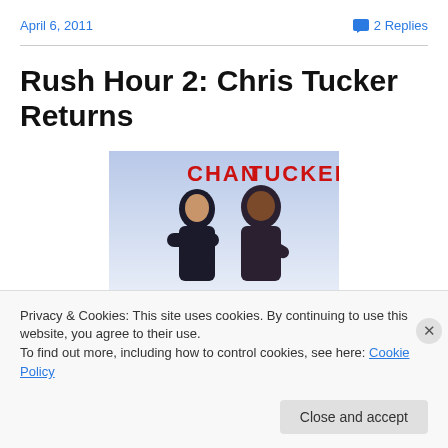April 6, 2011
💬 2 Replies
Rush Hour 2: Chris Tucker Returns
[Figure (photo): Rush Hour 2 promotional image showing Jackie Chan and Chris Tucker in dark suits. Text 'CHAN' in red and 'TUCKER' in red appears at top. Blue/white gradient background.]
Privacy & Cookies: This site uses cookies. By continuing to use this website, you agree to their use.
To find out more, including how to control cookies, see here: Cookie Policy
Close and accept